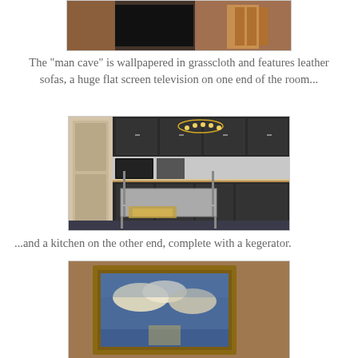[Figure (photo): Top portion of a photo showing what appears to be a hallway or room interior with wicker baskets visible on the right side.]
The "man cave" is wallpapered in grasscloth and features leather sofas, a huge flat screen television on one end of the room...
[Figure (photo): A kitchen area with dark cabinets, stainless steel appliances including a microwave and oven, a chandelier, and a stainless steel island/cart in the foreground.]
...and a kitchen on the other end, complete with a kegerator.
[Figure (photo): A framed landscape painting showing a sky with clouds, hanging on a grasscloth-textured wall.]